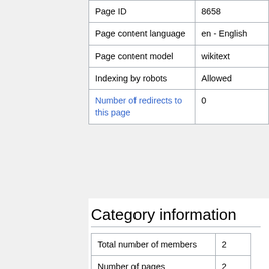| Page ID | 8658 |
| Page content language | en - English |
| Page content model | wikitext |
| Indexing by robots | Allowed |
| Number of redirects to this page | 0 |
Category information
| Total number of members | 2 |
| Number of pages | 2 |
| Number of subcategories | 0 |
| Number of files | 0 |